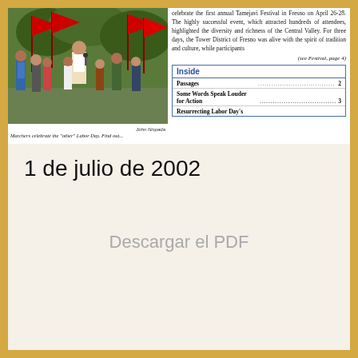[Figure (photo): Marchers with red flags celebrating the 'other' Labor Day, photo credited to John Nispada]
Marchers celebrate the "other" Labor Day. Find out...
celebrate the first annual Tamejavi Festival in Fresno on April 26-28. The highly successful event, which attracted hundreds of attendees, highlighted the diversity and richness of the Central Valley. For three days, the Tower District of Fresno was alive with the spirit of tradition and culture, while participants
(see Festival, page 4)
| Inside |  |
| --- | --- |
| Passages | 2 |
| Some Words Speak Louder for Action | 3 |
| Resurrecting Labor Day's |  |
1 de julio de 2002
Descargar el PDF